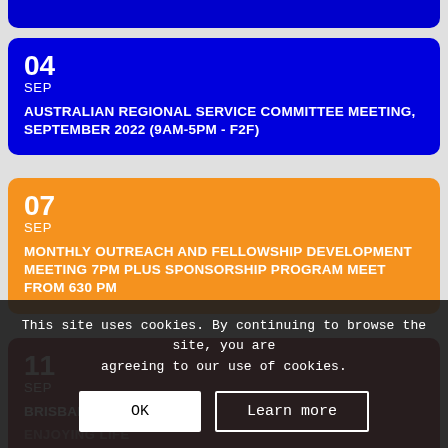04 SEP - AUSTRALIAN REGIONAL SERVICE COMMITTEE MEETING, SEPTEMBER 2022 (9AM-5PM - F2F)
07 SEP - MONTHLY OUTREACH AND FELLOWSHIP DEVELOPMENT MEETING 7PM PLUS SPONSORSHIP PROGRAM MEET FROM 630 PM
11 SEP - BRISBANE NORTH BBQ
ENJOYING LIFE
This site uses cookies. By continuing to browse the site, you are agreeing to our use of cookies.